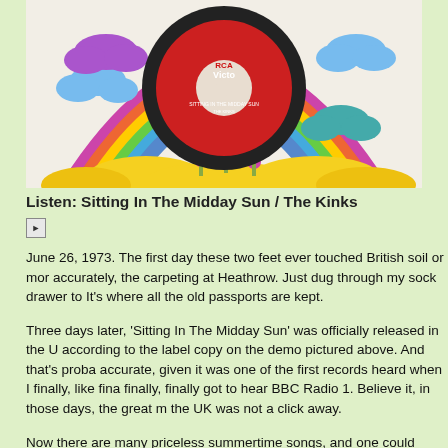[Figure (photo): A vinyl record with red RCA Victor label showing 'Sitting In The Midday Sun', placed on a colorful illustrated sleeve with a rainbow, clouds, and flowers on a light background.]
Listen: Sitting In The Midday Sun / The Kinks
[Figure (other): Play button icon (triangle in a square)]
June 26, 1973. The first day these two feet ever touched British soil or more accurately, the carpeting at Heathrow. Just dug through my sock drawer to It's where all the old passports are kept.
Three days later, 'Sitting In The Midday Sun' was officially released in the U according to the label copy on the demo pictured above. And that's proba accurate, given it was one of the first records heard when I finally, like fina finally, finally got to hear BBC Radio 1. Believe it, in those days, the great m the UK was not a click away.
Now there are many priceless summertime songs, and one could opinion